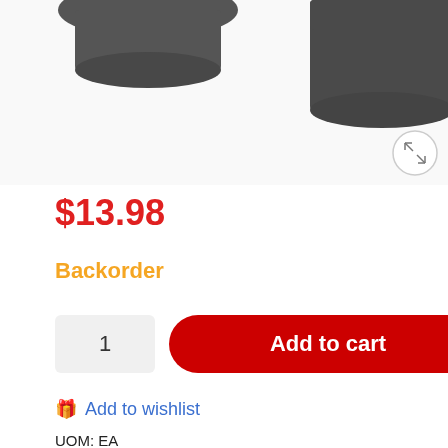[Figure (photo): Product images of dark grey cylindrical items (caps/covers), partially cropped at top. A circular zoom/expand button is visible at bottom right of the image area.]
$13.98
Backorder
1
Add to cart
🎁 Add to wishlist
UOM: EA
SKU: 49-09-1993